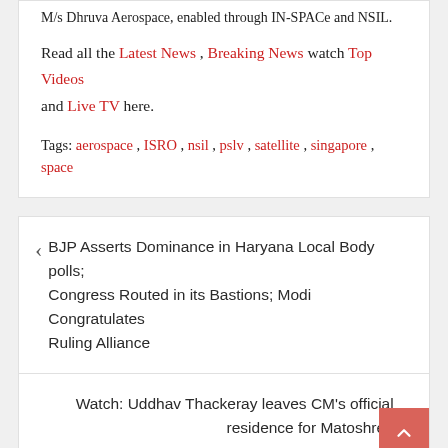M/s Dhruva Aerospace, enabled through IN-SPACe and NSIL.
Read all the Latest News , Breaking News watch Top Videos and Live TV here.
Tags: aerospace, ISRO, nsil, pslv, satellite, singapore, space
BJP Asserts Dominance in Haryana Local Body polls; Congress Routed in its Bastions; Modi Congratulates Ruling Alliance
Watch: Uddhav Thackeray leaves CM's official residence for Matoshree
Recent Post
PRESS RELEASE